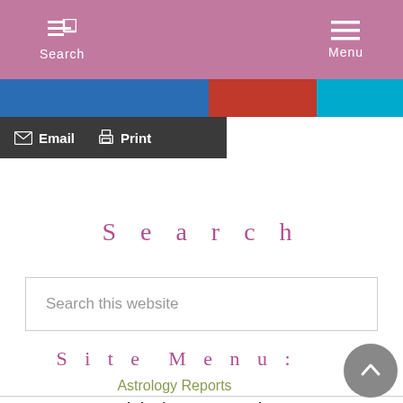Search   Menu
[Figure (screenshot): Social share bar with blue, red, and cyan sections]
Email   Print
S e a r c h
Search this website
S i t e  M e n u :
Astrology Reports
Birth Chart Interpretations